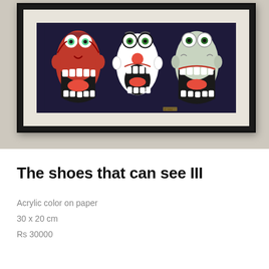[Figure (photo): A framed artwork hanging on a light grey wall. The artwork shows three stylized mask faces with large eyes, open mouths showing teeth, tongues, and expressive features in red, white, and black on a dark navy background. The frame is black with a cream/beige mat.]
The shoes that can see III
Acrylic color on paper
30 x 20 cm
Rs 30000